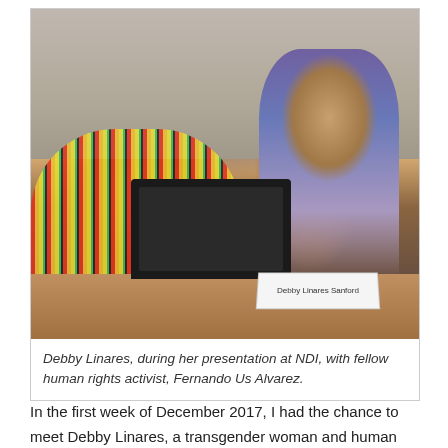[Figure (photo): Two people sitting at a conference table. On the left, a woman with long curly dark hair wearing a colorful red, yellow, and green patterned blouse, working on a black HP laptop. On the right, a person with long dark hair wearing a purple and white patterned shirt. A name plate reading 'Debby Linares Sanford' is visible on the table.]
Debby Linares, during her presentation at NDI, with fellow human rights activist, Fernando Us Alvarez.
Español
In the first week of December 2017, I had the chance to meet Debby Linares, a transgender woman and human rights activist from Guatemala, who soon became an inspiration to me on a